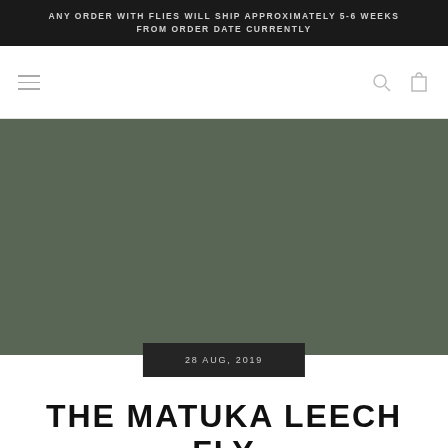ANY ORDER WITH FLIES WILL SHIP APPROXIMATELY 5-6 WEEKS FROM ORDER DATE CURRENTLY
[Figure (screenshot): Navigation bar with hamburger menu icon on the left and search and cart icons on the right]
[Figure (photo): Hero image placeholder with dark olive/green background color]
28 AUG, 2019
THE MATUKA LEECH FLY